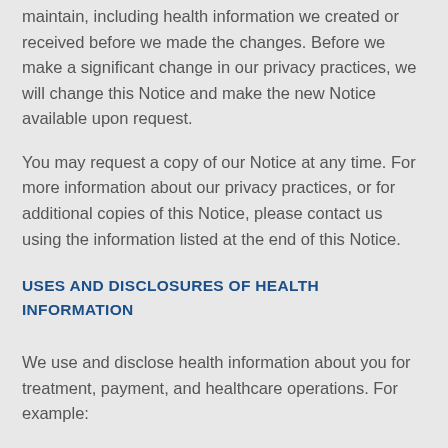maintain, including health information we created or received before we made the changes. Before we make a significant change in our privacy practices, we will change this Notice and make the new Notice available upon request.
You may request a copy of our Notice at any time. For more information about our privacy practices, or for additional copies of this Notice, please contact us using the information listed at the end of this Notice.
USES AND DISCLOSURES OF HEALTH INFORMATION
We use and disclose health information about you for treatment, payment, and healthcare operations. For example:
Treatment: We may use or disclose your health information to a physician or other healthcare provider providing treatment to you.